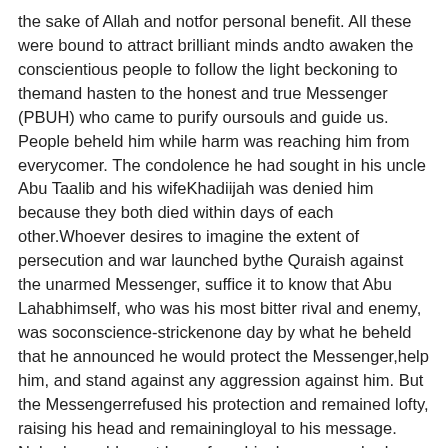the sake of Allah and notfor personal benefit. All these were bound to attract brilliant minds andto awaken the conscientious people to follow the light beckoning to themand hasten to the honest and true Messenger (PBUH) who came to purify oursouls and guide us. People beheld him while harm was reaching him from everycomer. The condolence he had sought in his uncle Abu Taalib and his wifeKhadiijah was denied him because they both died within days of each other.Whoever desires to imagine the extent of persecution and war launched bythe Quraish against the unarmed Messenger, suffice it to know that Abu Lahabhimself, who was his most bitter rival and enemy, was soconscience-strickenone day by what he beheld that he announced he would protect the Messenger,help him, and stand against any aggression against him. But the Messengerrefused his protection and remained lofty, raising his head and remainingloyal to his message. Nobody could avert harm from him because nobody daredto do so! Even the eminent Abu Bakr could do nothing but weep.
One day, the Messenger (PBUH) went to the Ka'bah and, while he was circumambulatingit, the nobles of the Quraish who were waiting for him suddenly ran and surroundedhim,